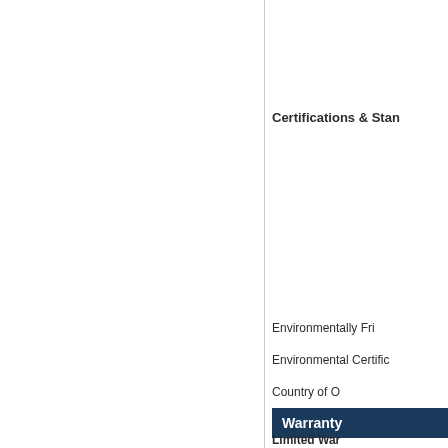Certifications & Stan
Environmentally Fri
Environmental Certific
Country of O
Warranty
Limited War